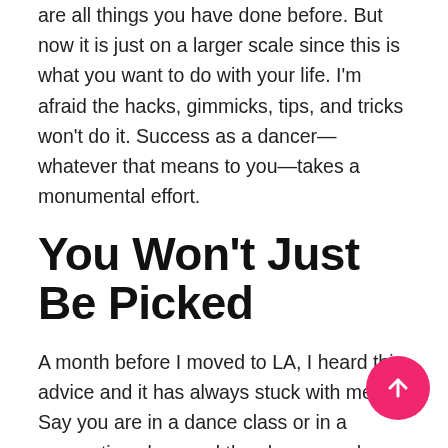are all things you have done before. But now it is just on a larger scale since this is what you want to do with your life. I'm afraid the hacks, gimmicks, tips, and tricks won't do it. Success as a dancer—whatever that means to you—takes a monumental effort.
You Won't Just Be Picked
A month before I moved to LA, I heard this advice and it has always stuck with me. Say you are in a dance class or in a convention class and the choreographer loves the way you are dancing. Say you are asked to demonstrate the combo to the rest of the